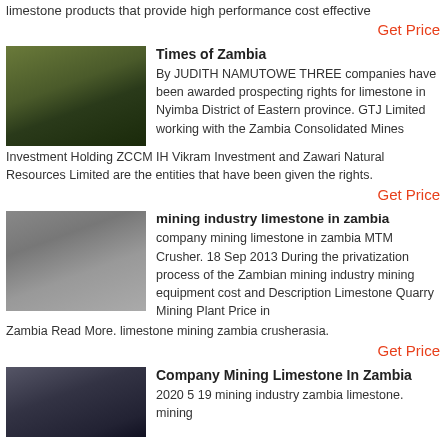limestone products that provide high performance cost effective
Get Price
[Figure (photo): Yellow industrial mining/crushing equipment outdoors]
Times of Zambia
By JUDITH NAMUTOWE THREE companies have been awarded prospecting rights for limestone in Nyimba District of Eastern province. GTJ Limited working with the Zambia Consolidated Mines Investment Holding ZCCM IH Vikram Investment and Zawari Natural Resources Limited are the entities that have been given the rights.
Get Price
[Figure (photo): Gray industrial cone crusher machine outdoors]
mining industry limestone in zambia
company mining limestone in zambia MTM Crusher. 18 Sep 2013 During the privatization process of the Zambian mining industry mining equipment cost and Description Limestone Quarry Mining Plant Price in Zambia Read More. limestone mining zambia crusherasia.
Get Price
[Figure (photo): Mining facility interior with worker and equipment]
Company Mining Limestone In Zambia
2020 5 19 mining industry zambia limestone. mining